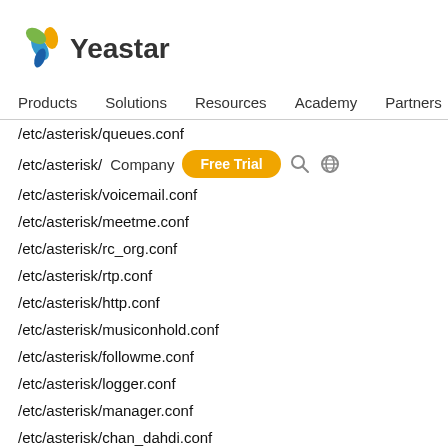[Figure (logo): Yeastar logo with colorful flower icon and text]
Products  Solutions  Resources  Academy  Partners
/etc/asterisk/queues.conf
/etc/asterisk/[overlaid].conf
/etc/asterisk/voicemail.conf
/etc/asterisk/meetme.conf
/etc/asterisk/rc_org.conf
/etc/asterisk/rtp.conf
/etc/asterisk/http.conf
/etc/asterisk/musiconhold.conf
/etc/asterisk/followme.conf
/etc/asterisk/logger.conf
/etc/asterisk/manager.conf
/etc/asterisk/chan_dahdi.conf